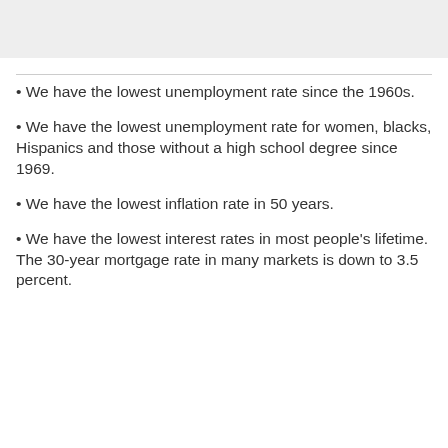[Figure (other): Gray box / image placeholder at top of page]
We have the lowest unemployment rate since the 1960s.
We have the lowest unemployment rate for women, blacks, Hispanics and those without a high school degree since 1969.
We have the lowest inflation rate in 50 years.
We have the lowest interest rates in most people's lifetime. The 30-year mortgage rate in many markets is down to 3.5 percent.